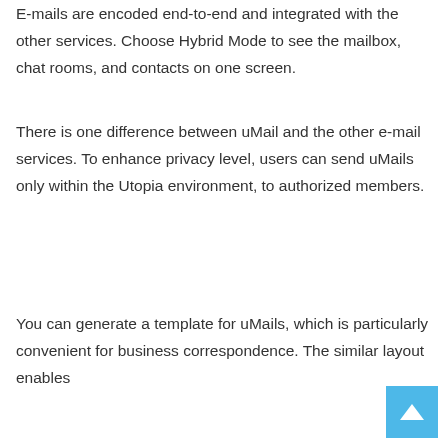E-mails are encoded end-to-end and integrated with the other services. Choose Hybrid Mode to see the mailbox, chat rooms, and contacts on one screen.
There is one difference between uMail and the other e-mail services. To enhance privacy level, users can send uMails only within the Utopia environment, to authorized members.
You can generate a template for uMails, which is particularly convenient for business correspondence. The similar layout enables